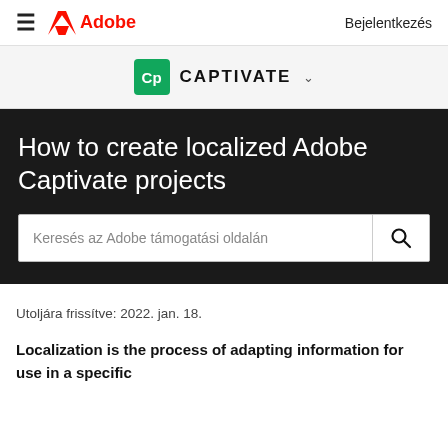≡  Adobe  Bejelentkezés
[Figure (logo): Adobe Captivate product logo with green Cp icon and CAPTIVATE label with dropdown arrow]
How to create localized Adobe Captivate projects
[Figure (screenshot): Search bar with placeholder text 'Keresés az Adobe támogatási oldalán' and search icon button]
Utoljára frissítve: 2022. jan. 18.
Localization is the process of adapting information for use in a specific